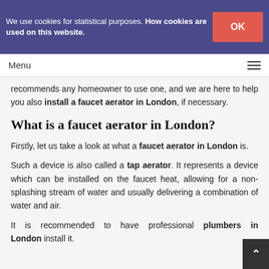We use cookies for statistical purposes. How cookies are used on this website. OK
Menu
recommends any homeowner to use one, and we are here to help you also install a faucet aerator in London, if necessary.
What is a faucet aerator in London?
Firstly, let us take a look at what a faucet aerator in London is.
Such a device is also called a tap aerator. It represents a device which can be installed on the faucet heat, allowing for a non-splashing stream of water and usually delivering a combination of water and air.
It is recommended to have professional plumbers in London install it.